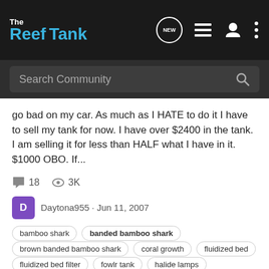[Figure (screenshot): The Reef Tank website navigation bar with logo, NEW chat badge, list icon, user icon, and three-dot menu icon]
[Figure (screenshot): Search Community search bar with magnifying glass icon]
go bad on my car. As much as I HATE to do it I have to sell my tank for now. I have over $2400 in the tank. I am selling it for less than HALF what I have in it. $1000 OBO. If...
18 comments, 3K views
Daytona955 · Jun 11, 2007
bamboo shark
banded bamboo shark
brown banded bamboo shark
coral growth
fluidized bed
fluidized bed filter
fowlr tank
halide lamps
metal halide lamp
moray eel
reef ready tank
trickle filter
What is the most money you have ever spent on a fish?
General Reef Discussion